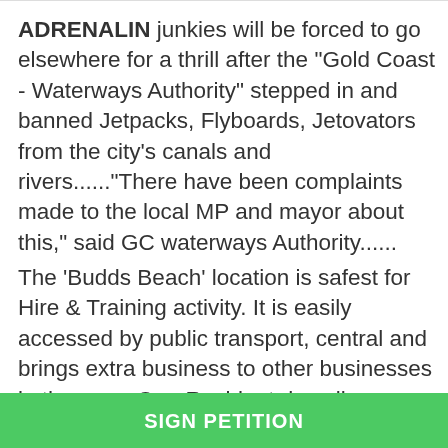ADRENALIN junkies will be forced to go elsewhere for a thrill after the "Gold Coast - Waterways Authority" stepped in and banned Jetpacks, Flyboards, Jetovators from the city's canals and rivers......“There have been complaints made to the local MP and mayor about this,” said GC waterways Authority......
The 'Budds Beach' location is safest for Hire & Training activity. It is easily accessed by public transport, central and brings extra business to other businesses in the area. One Resident describes us as the sound like a leaf blower, yet
SIGN PETITION